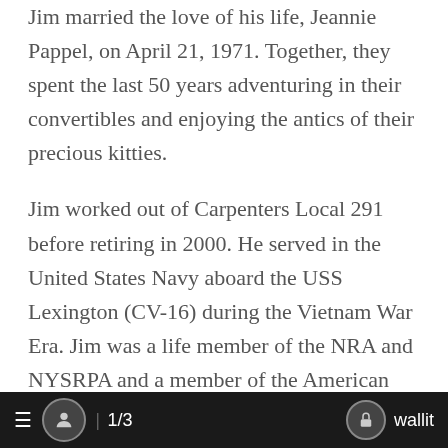Jim married the love of his life, Jeannie Pappel, on April 21, 1971. Together, they spent the last 50 years adventuring in their convertibles and enjoying the antics of their precious kitties.
Jim worked out of Carpenters Local 291 before retiring in 2000. He served in the United States Navy aboard the USS Lexington (CV-16) during the Vietnam War Era. Jim was a life member of the NRA and NYSRPA and a member of the American Legion Post 323 in Granville, New York.
Jim enjoyed hunting, fishing, backpacking, kayaking, hiking and trap shooting. A master carpenter, he will
≡  1/3  wallit